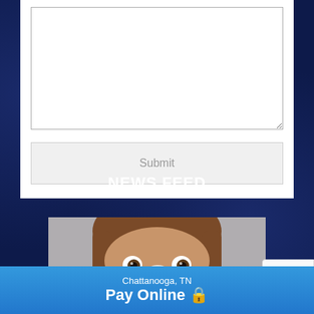[Figure (screenshot): A white form area with a large textarea input box (empty) and a Submit button below it]
NEWS FEED
[Figure (photo): A young child with brown hair looking at the camera, with a bandaged finger held up to their nose]
[Figure (other): Partial reCAPTCHA badge in the bottom right corner]
Chattanooga, TN
Pay Online 🔒